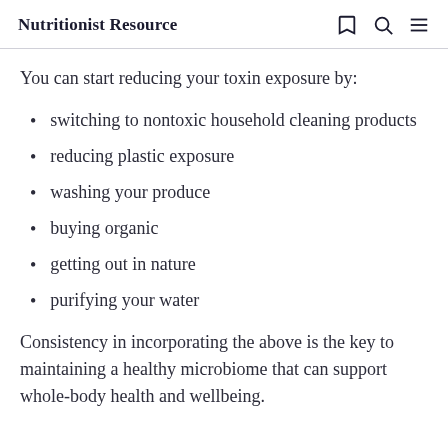Nutritionist Resource
You can start reducing your toxin exposure by:
switching to nontoxic household cleaning products
reducing plastic exposure
washing your produce
buying organic
getting out in nature
purifying your water
Consistency in incorporating the above is the key to maintaining a healthy microbiome that can support whole-body health and wellbeing.